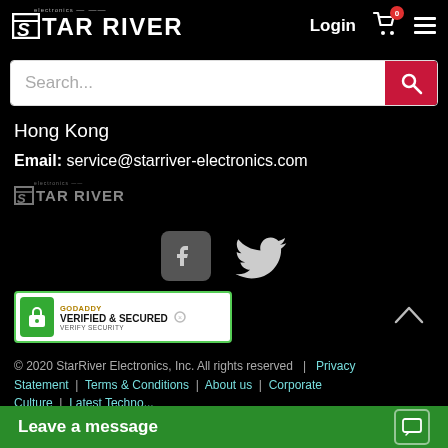[Figure (logo): Star River Electronics logo in white on black header, with Login, cart icon with badge 0, and hamburger menu]
[Figure (screenshot): Search input bar with placeholder 'Search...' and red search button]
Hong Kong
Email: service@starriver-electronics.com
[Figure (logo): Small Star River Electronics logo in grey]
[Figure (infographic): Facebook and Twitter social media icons]
[Figure (infographic): GoDaddy Verified & Secured badge with lock icon]
© 2020 StarRiver Electronics, Inc. All rights reserved | Privacy Statement | Terms & Conditions | About us | Corporate Culture | Latest Techno...
[Figure (infographic): Leave a message chat bar at bottom in green]